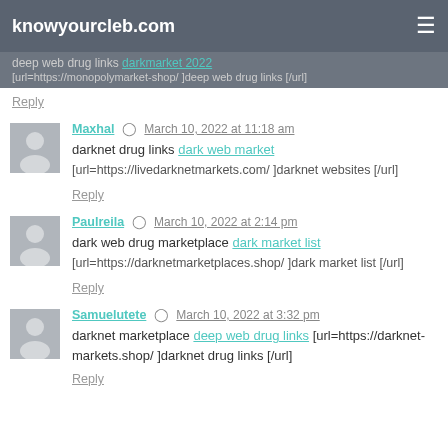knowyourcleb.com
deep web drug links darkmarket 2022
[url=https://monopolymarket-shop/ ]deep web drug links [/url]
Reply
Maxhal · March 10, 2022 at 11:18 am
darknet drug links dark web market
[url=https://livedarknetmarkets.com/ ]darknet websites [/url]
Reply
Paulreila · March 10, 2022 at 2:14 pm
dark web drug marketplace dark market list
[url=https://darknetmarketplaces.shop/ ]dark market list [/url]
Reply
Samuelutete · March 10, 2022 at 3:32 pm
darknet marketplace deep web drug links [url=https://darknet-markets.shop/ ]darknet drug links [/url]
Reply